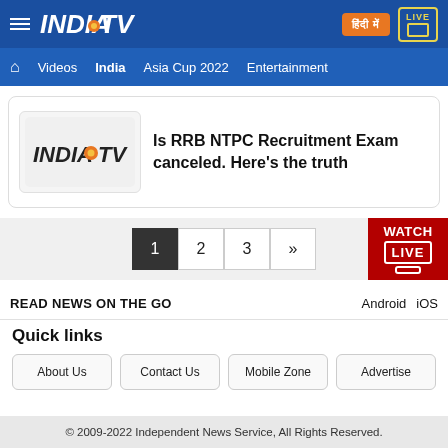INDIA TV - Header navigation bar with Videos, India, Asia Cup 2022, Entertainment
Is RRB NTPC Recruitment Exam canceled. Here's the truth
Pagination: 1 2 3 »
READ NEWS ON THE GO  Android  iOS
Quick links
About Us
Contact Us
Mobile Zone
Advertise
© 2009-2022 Independent News Service, All Rights Reserved.